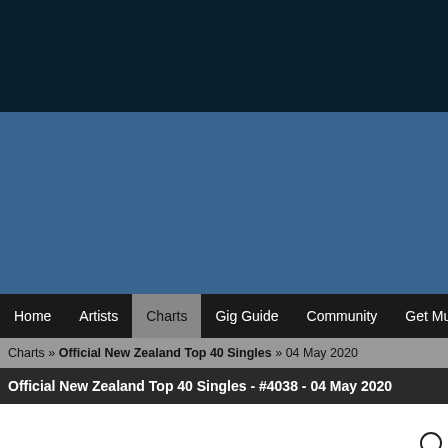[Figure (other): Blue header/banner area of a music charts website]
Home  Artists  Charts  Gig Guide  Community  Get Music  Galle
Charts » Official New Zealand Top 40 Singles » 04 May 2020
Official New Zealand Top 40 Singles - #4038 - 04 May 2020